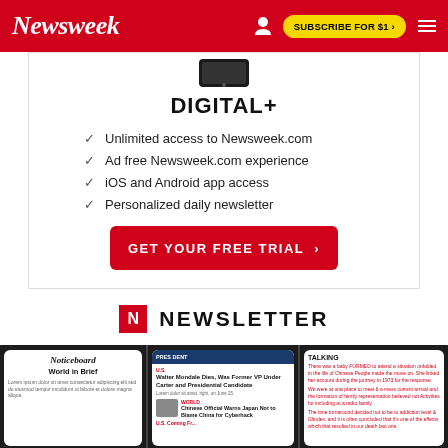Newsweek | SUBSCRIBE FOR $1 >
[Figure (screenshot): Phone device image at top of Digital+ subscription box]
DIGITAL+
Unlimited access to Newsweek.com
Ad free Newsweek.com experience
iOS and Android app access
Personalized daily newsletter
GET YOUR FREE TRIAL >
NEWSLETTER
[Figure (photo): Three phone screens showing Newsweek newsletter and news articles including Walter Mondale obituary and Chinese official cyberhack warning]